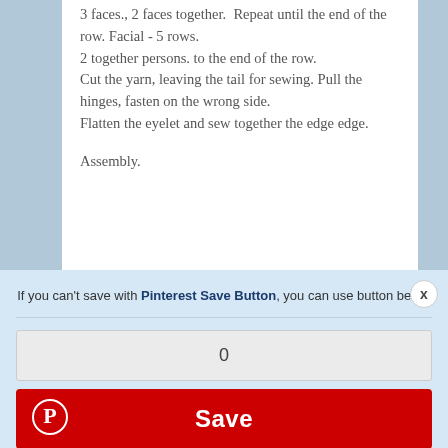3 faces., 2 faces together. Repeat until the end of the row. Facial - 5 rows.
2 together persons. to the end of the row.
Cut the yarn, leaving the tail for sewing. Pull the hinges, fasten on the wrong side.
Flatten the eyelet and sew together the edge edge.
Assembly.
[Figure (screenshot): Pinterest Save overlay dialog showing a count box with '0' and a red Save button with Pinterest logo icon. Header text reads: 'If you can't save with Pinterest Save Button, you can use button below'. A close (x) button appears in the top-right corner.]